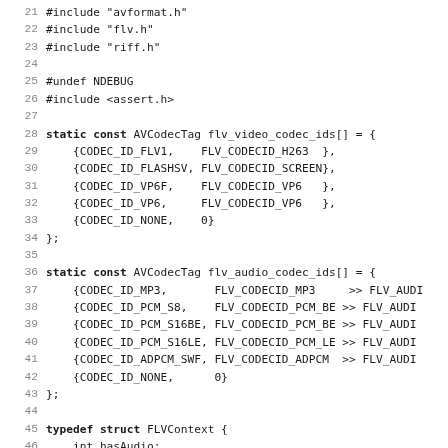Source code listing lines 21-52 of an FLV/codec C source file
21  #include "avformat.h"
22  #include "flv.h"
23  #include "riff.h"
24
25  #undef NDEBUG
26  #include <assert.h>
27
28  static const AVCodecTag flv_video_codec_ids[] = {
29      {CODEC_ID_FLV1,    FLV_CODECID_H263  },
30      {CODEC_ID_FLASHSV, FLV_CODECID_SCREEN},
31      {CODEC_ID_VP6F,    FLV_CODECID_VP6   },
32      {CODEC_ID_VP6,     FLV_CODECID_VP6   },
33      {CODEC_ID_NONE,    0}
34  };
35
36  static const AVCodecTag flv_audio_codec_ids[] = {
37      {CODEC_ID_MP3,       FLV_CODECID_MP3     >> FLV_AUDI
38      {CODEC_ID_PCM_S8,    FLV_CODECID_PCM_BE >> FLV_AUDI
39      {CODEC_ID_PCM_S16BE, FLV_CODECID_PCM_BE >> FLV_AUDI
40      {CODEC_ID_PCM_S16LE, FLV_CODECID_PCM_LE >> FLV_AUDI
41      {CODEC_ID_ADPCM_SWF, FLV_CODECID_ADPCM  >> FLV_AUDI
42      {CODEC_ID_NONE,      0}
43  };
44
45  typedef struct FLVContext {
46      int hasAudio;
47      int hasVideo;
48      int reserved;
49      offset_t duration_offset;
50      offset_t filesize_offset;
51      int64_t duration;
52  } FLVContext;